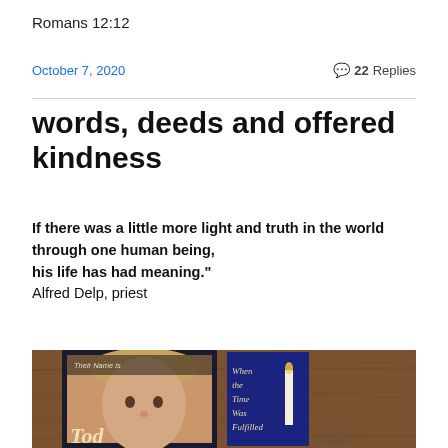Romans 12:12
October 7, 2020   💬 22 Replies
words, deeds and offered kindness
If there was a little more light and truth in the world through one human being,
his life has had meaning."
Alfred Delp, priest
[Figure (photo): Books on a wooden table including 'Their Name is Today' showing a child's face and 'When the Time Was Fulfilled - Christmas Meditations']